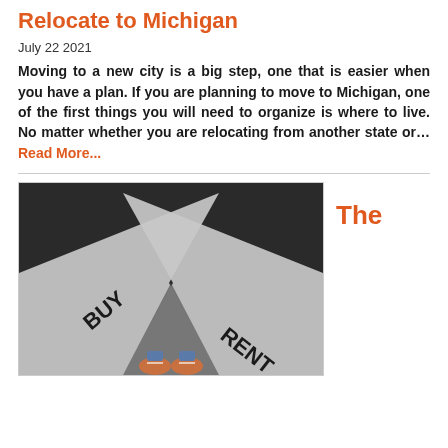Relocate to Michigan
July 22 2021
Moving to a new city is a big step, one that is easier when you have a plan. If you are planning to move to Michigan, one of the first things you will need to organize is where to live. No matter whether you are relocating from another state or... Read More...
[Figure (photo): Two painted arrows on dark asphalt ground, one pointing left labeled BUY and one pointing right labeled RENT, with a person's feet visible standing at the intersection]
The